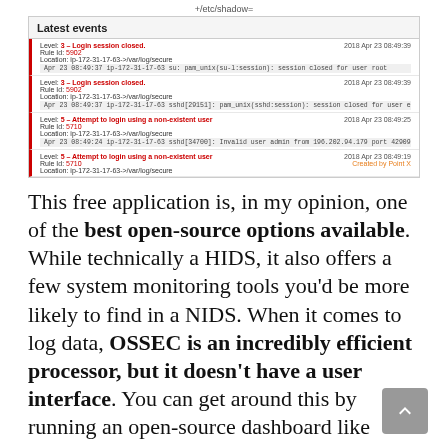+/etc/shadow=
Latest events
| Level | Rule Id | Location | Log | Timestamp |
| --- | --- | --- | --- | --- |
| 3 – Login session closed. | 5902 | ip-172-31-17-63->/var/log/secure | Apr 23 08:49:37 ip-172-31-17-63 su: pam_unix(su-l:session): session closed for user root | 2018 Apr 23 08:49:39 |
| 3 – Login session closed. | 5902 | ip-172-31-17-63->/var/log/secure | Apr 23 08:49:37 ip-172-31-17-63 sshd[29151]: pam_unix(sshd:session): session closed for user ec2-user | 2018 Apr 23 08:49:39 |
| 5 – Attempt to login using a non-existent user | 5710 | ip-172-31-17-63->/var/log/secure | Apr 23 08:49:24 ip-172-31-17-63 sshd[34700]: Invalid user admin from 196.202.94.179 port 42909 | 2018 Apr 23 08:49:25 |
| 5 – Attempt to login using a non-existent user | 5710 | ip-172-31-17-63->/var/log/secure |  | 2018 Apr 23 08:49:19 |
This free application is, in my opinion, one of the best open-source options available. While technically a HIDS, it also offers a few system monitoring tools you'd be more likely to find in a NIDS. When it comes to log data, OSSEC is an incredibly efficient processor, but it doesn't have a user interface. You can get around this by running an open-source dashboard like Kibana or Graylog.